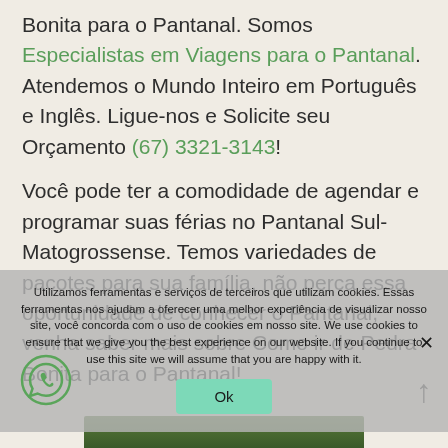Bonita para o Pantanal. Somos Especialistas em Viagens para o Pantanal. Atendemos o Mundo Inteiro em Português e Inglês. Ligue-nos e Solicite seu Orçamento (67) 3321-3143!
Você pode ter a comodidade de agendar e programar suas férias no Pantanal Sul-Matogrossense. Temos variedades de pacotes para sua família, não perca essa oportunidade de conhecer o Pantanal, venha saber mais sobre Como ir de Pedra Bonita para o Pantanal!
Utilizamos ferramentas e serviços de terceiros que utilizam cookies. Essas ferramentas nos ajudam a oferecer uma melhor experiência de visualizar nosso site, você concorda com o uso de cookies em nosso site. We use cookies to ensure that we give you the best experience on our website. If you continue to use this site we will assume that you are happy with it.
Ok
[Figure (photo): Bottom strip showing dark green foliage/vegetation]